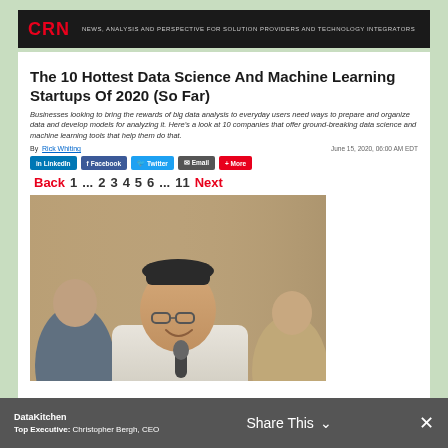CRN — NEWS, ANALYSIS AND PERSPECTIVE FOR SOLUTION PROVIDERS AND TECHNOLOGY INTEGRATORS
The 10 Hottest Data Science And Machine Learning Startups Of 2020 (So Far)
Businesses looking to bring the rewards of big data analysis to everyday users need ways to prepare and organize data and develop models for analyzing it. Here's a look at 10 companies that offer ground-breaking data science and machine learning tools that help them do that.
By Rick Whiting — June 15, 2020, 06:00 AM EDT
LinkedIn  Facebook  Twitter  Email  More
Back  1  ...  2  3  4  5  6  ...  11  Next
[Figure (photo): Photo of a person in a white jacket wearing a black beanie hat, holding a microphone and laughing. Two other people are visible in the background.]
DataKitchen
Top Executive: Christopher Bergh, CEO
Share This